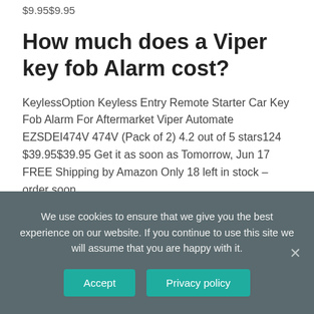$9.95$9.95
How much does a Viper key fob Alarm cost?
KeylessOption Keyless Entry Remote Starter Car Key Fob Alarm For Aftermarket Viper Automate EZSDEI474V 474V (Pack of 2) 4.2 out of 5 stars124 $39.95$39.95 Get it as soon as Tomorrow, Jun 17 FREE Shipping by Amazon Only 18 left in stock – order soon.
We use cookies to ensure that we give you the best experience on our website. If you continue to use this site we will assume that you are happy with it.